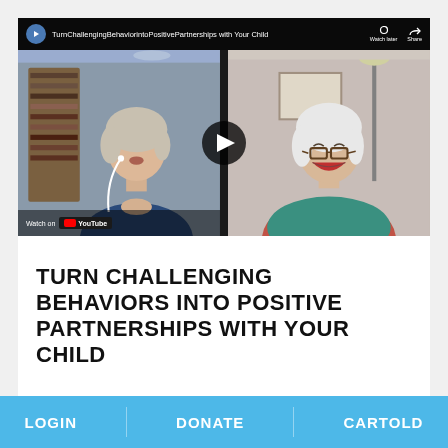[Figure (screenshot): YouTube video thumbnail showing two older women in a split-screen video call. Left panel: woman with grey/blonde hair wearing blue top and earphones, with bookshelves in background. Right panel: woman with white hair wearing glasses and colorful top, laughing. Video title bar reads: TurnChallengingBehaviorintoPositivePartnerships with Your Child. Watch later and Share buttons visible. Watch on YouTube badge at bottom left. Play button in center.]
TURN CHALLENGING BEHAVIORS INTO POSITIVE PARTNERSHIPS WITH YOUR CHILD
LOGIN    DONATE    CARTOLD